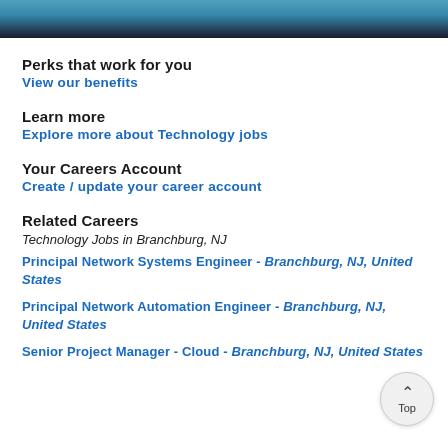[Figure (photo): Partial photo strip at top of page, shows people, dark overlay at bottom]
Perks that work for you
View our benefits
Learn more
Explore more about Technology jobs
Your Careers Account
Create / update your career account
Related Careers
Technology Jobs in Branchburg, NJ
Principal Network Systems Engineer - Branchburg, NJ, United States
Principal Network Automation Engineer - Branchburg, NJ, United States
Senior Project Manager - Cloud - Branchburg, NJ, United States